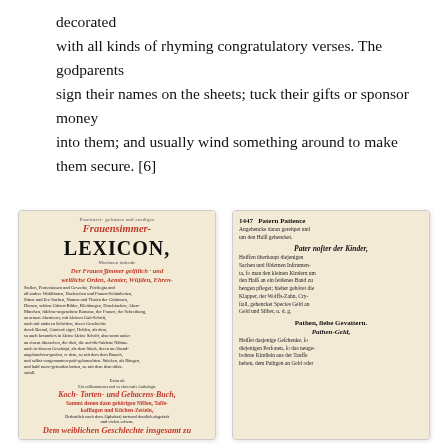decorated
with all kinds of rhyming congratulatory verses. The godparents
sign their names on the sheets; tuck their gifts or sponsor money
into them; and usually wind something around to make them secure. [6]
[Figure (photo): Scanned page of an antique German book titled 'Frauenzimmer-Lexicon' with red and black Gothic/Fraktur typography, showing the title page of a women's lexicon and a cookery book.]
[Figure (photo): Scanned page of an antique German book showing dictionary entries for 'Patern Patience', 'Pater noster der Kinder', 'Pathen', 'Pathen-Geld' with Fraktur text.]